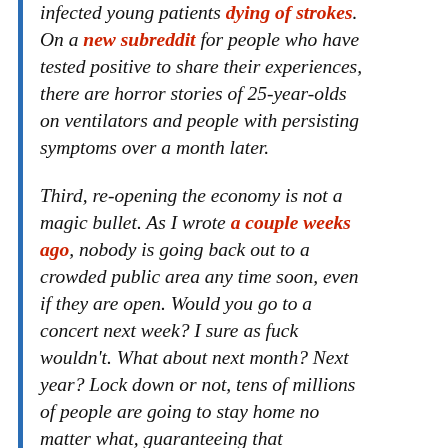infected young patients dying of strokes. On a new subreddit for people who have tested positive to share their experiences, there are horror stories of 25-year-olds on ventilators and people with persisting symptoms over a month later.
Third, re-opening the economy is not a magic bullet. As I wrote a couple weeks ago, nobody is going back out to a crowded public area any time soon, even if they are open. Would you go to a concert next week? I sure as fuck wouldn't. What about next month? Next year? Lock down or not, tens of millions of people are going to stay home no matter what, guaranteeing that consumer spending remains in the toilet and tens of millions remain unemployed